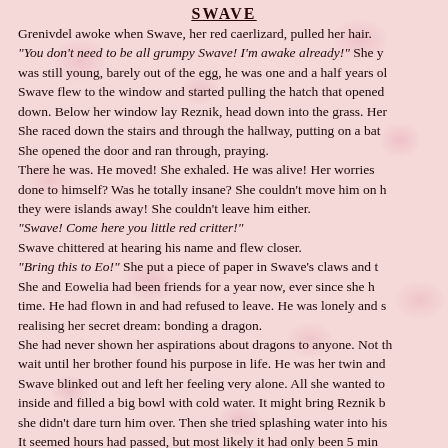SWAVE
Grenivdel awoke when Swave, her red caerlizard, pulled her hair. "You don't need to be all grumpy Swave! I'm awake already!" She y was still young, barely out of the egg, he was one and a half years ol Swave flew to the window and started pulling the hatch that opened down. Below her window lay Reznik, head down into the grass. Her She raced down the stairs and through the hallway, putting on a bat She opened the door and ran through, praying. There he was. He moved! She exhaled. He was alive! Her worries done to himself? Was he totally insane? She couldn't move him on h they were islands away! She couldn't leave him either. "Swave! Come here you little red critter!" Swave chittered at hearing his name and flew closer. "Bring this to Eo!" She put a piece of paper in Swave's claws and t She and Eowelia had been friends for a year now, ever since she h time. He had flown in and had refused to leave. He was lonely and s realising her secret dream: bonding a dragon. She had never shown her aspirations about dragons to anyone. Not th wait until her brother found his purpose in life. He was her twin and Swave blinked out and left her feeling very alone. All she wanted to inside and filled a big bowl with cold water. It might bring Reznik b she didn't dare turn him over. Then she tried splashing water into his It seemed hours had passed, but most likely it had only been 5 min Grenivdel waved and watched as Cytajhik landed. "What has he done this time?" Eo asked.